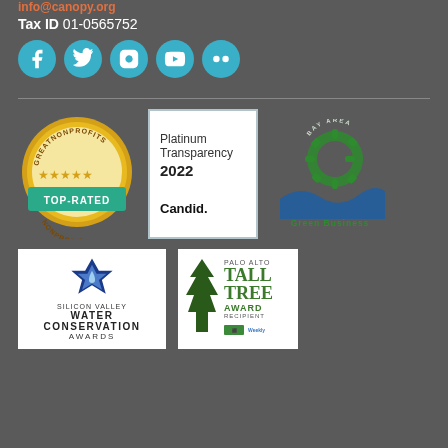info@canopy.org
Tax ID 01-0565752
[Figure (logo): Social media icons: Facebook, Twitter, Instagram, YouTube, Flickr — five teal circular icons]
[Figure (logo): GreatNonprofits Top-Rated Nonprofit badge — gold medallion with teal banner]
[Figure (logo): Candid Platinum Transparency 2022 badge — white box with blue border]
[Figure (logo): Bay Area Green Business badge — green gear and blue wave logo]
[Figure (logo): Silicon Valley Water Conservation Awards badge — blue star with water drop]
[Figure (logo): Palo Alto Tall Tree Award Recipient badge — tree silhouette with green text]